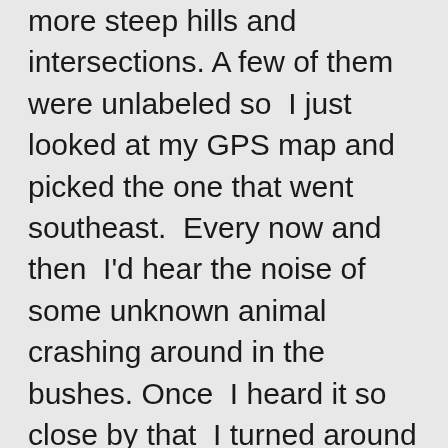more steep hills and intersections. A few of them were unlabeled so  I just looked at my GPS map and picked the one that went southeast.  Every now and then  I'd hear the noise of some unknown animal crashing around in the bushes. Once  I heard it so close by that  I turned around